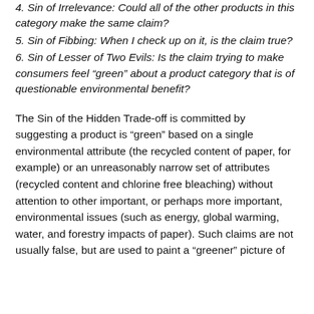4. Sin of Irrelevance: Could all of the other products in this category make the same claim?
5. Sin of Fibbing: When I check up on it, is the claim true?
6. Sin of Lesser of Two Evils: Is the claim trying to make consumers feel “green” about a product category that is of questionable environmental benefit?
The Sin of the Hidden Trade-off is committed by suggesting a product is “green” based on a single environmental attribute (the recycled content of paper, for example) or an unreasonably narrow set of attributes (recycled content and chlorine free bleaching) without attention to other important, or perhaps more important, environmental issues (such as energy, global warming, water, and forestry impacts of paper). Such claims are not usually false, but are used to paint a “greener” picture of